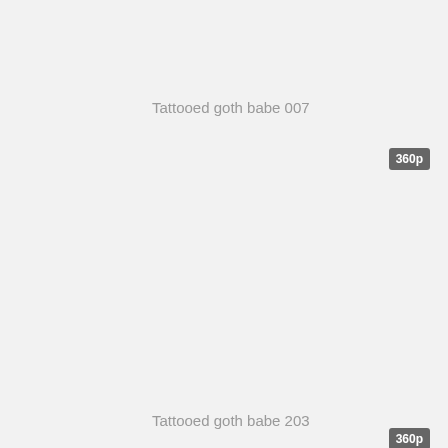Tattooed goth babe 007
360p
Tattooed goth babe 203
360p